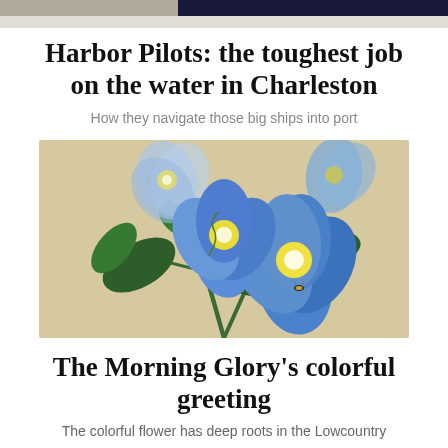[Figure (photo): Top portion of a photo, dark tones, likely a harbor or nautical scene]
Harbor Pilots: the toughest job on the water in Charleston
How they navigate those big ships into port
[Figure (illustration): Botanical illustration of blue Morning Glory flowers with green leaves and a bee on a beige/tan background]
The Morning Glory's colorful greeting
The colorful flower has deep roots in the Lowcountry